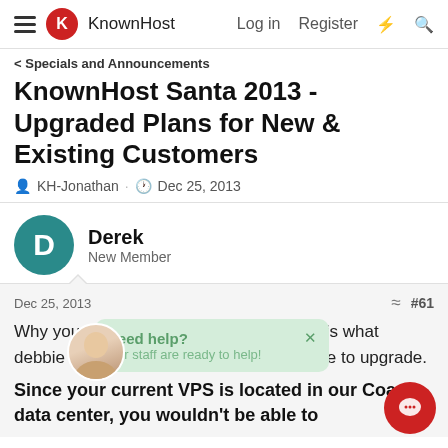KnownHost — Log in Register
< Specials and Announcements
KnownHost Santa 2013 - Upgraded Plans for New & Existing Customers
KH-Jonathan · Dec 25, 2013
Derek
New Member
Dec 25, 2013  #61
Why you keep censoring me? Again, this is what debbie told me in regards to not being able to upgrade.
Since your current VPS is located in our Coast data center, you wouldn't be able to